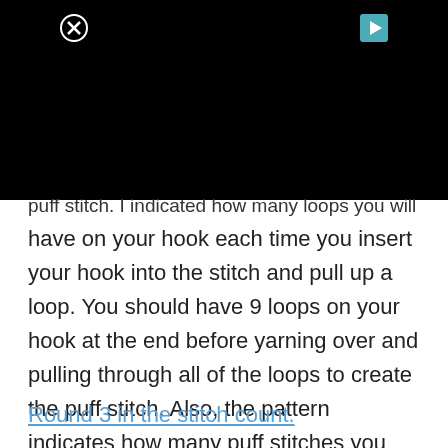[Figure (screenshot): Black banner/video area at top of page with a close (X) button on the left and a teal play button on the right]
puff stitch. I indicated how many loops you will have on your hook each time you insert your hook into the stitch and pull up a loop. You should have 9 loops on your hook at the end before yarning over and pulling through all of the loops to create the puff stitch. Also, the pattern indicates how many puff stitches you should have at the end of Round 3 in the stitch count.